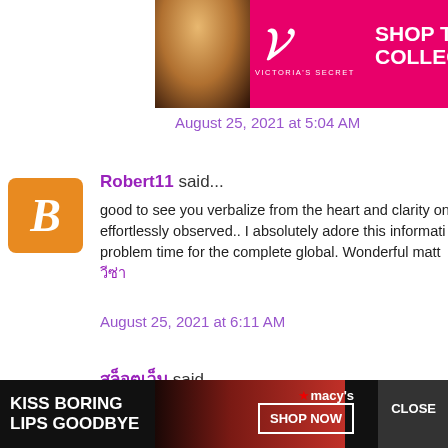[Figure (screenshot): Victoria's Secret banner advertisement with pink background, logo, 'SHOP THE COLLECTION' text, and 'SHOP NOW' button. Woman photo on left.]
August 25, 2021 at 5:04 AM
Robert11 said...
good to see you verbalize from the heart and clarity on effortlessly observed.. I absolutely adore this information problem time for the complete global. Wonderful matt วีซ่า
August 25, 2021 at 6:11 AM
สล็อตเว็บ said...
I accidentally searched and visited your site. I still saw s but the text was neat and readable. I will quote this po Would you like to visit my blog later? ว
[Figure (screenshot): Macy's 'Kiss Boring Lips Goodbye' banner ad with red lips photo, SHOP NOW button and macy's star logo. Also shows CLOSE button and GO TOP button.]